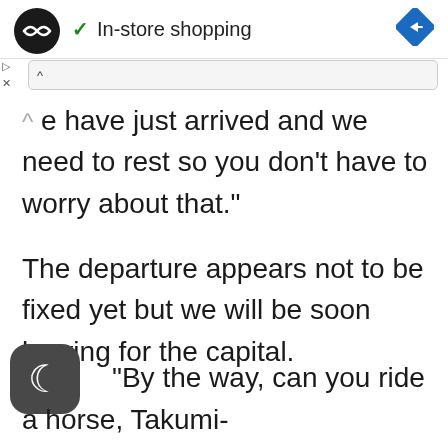In-store shopping
e have just arrived and we need to rest so you don't have to worry about that."
The departure appears not to be fixed yet but we will be soon leaving for the capital.
"By the way, can you ride a horse, Takumi-